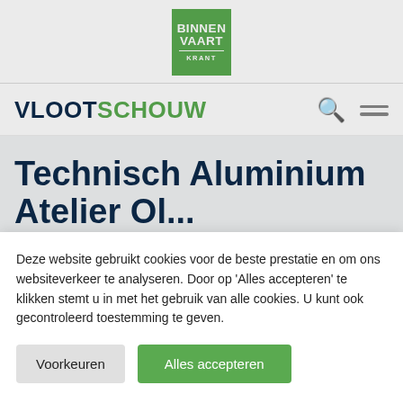BINNEN VAART KRANT
VLOOTSCHOUW
Technisch Aluminium Atelier...
Deze website gebruikt cookies voor de beste prestatie en om ons websiteverkeer te analyseren. Door op 'Alles accepteren' te klikken stemt u in met het gebruik van alle cookies. U kunt ook gecontroleerd toestemming te geven.
Voorkeuren
Alles accepteren